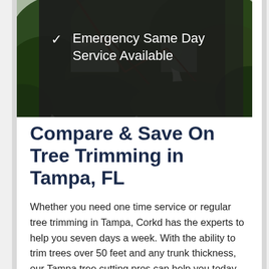[Figure (photo): Photo of tree branches and foliage with a dark semi-transparent overlay box containing a checkmark list item reading 'Emergency Same Day Service Available']
Emergency Same Day Service Available
Compare & Save On Tree Trimming in Tampa, FL
Whether you need one time service or regular tree trimming in Tampa, Corkd has the experts to help you seven days a week. With the ability to trim trees over 50 feet and any trunk thickness, our Tampa tree cutting pros can help you today. You will never have to deal with someone with a truck and shears calling themselves a tree cutting pro again. We have true